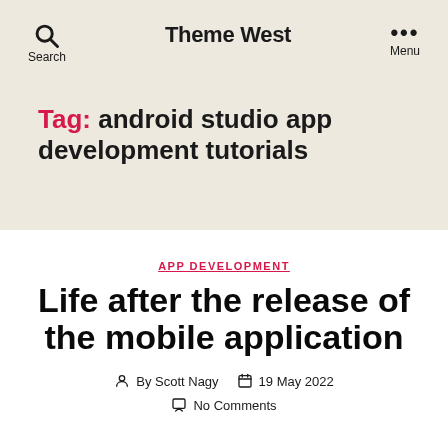Theme West
Tag: android studio app development tutorials
APP DEVELOPMENT
Life after the release of the mobile application
By Scott Nagy  19 May 2022
No Comments